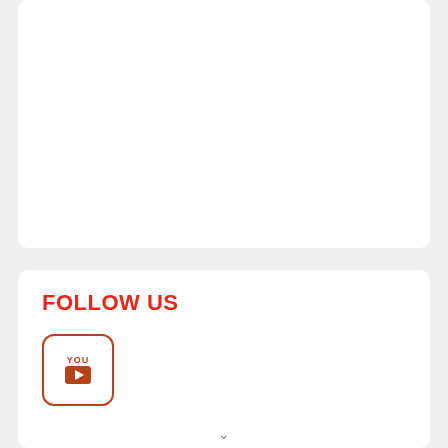FOLLOW US
[Figure (logo): YouTube icon button with rounded square border in brown/red color, showing YOU text above a play button box]